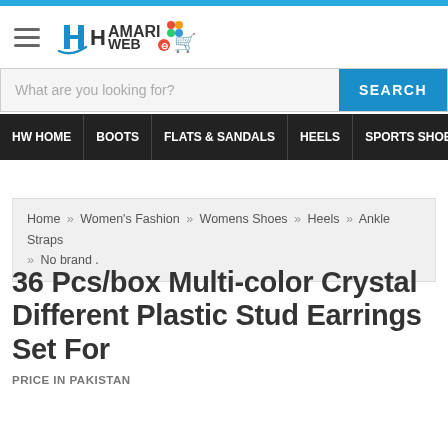[Figure (logo): HamariWeb logo with stylized H and colorful dots, shopping cart icon]
What are you looking for? SEARCH
HW HOME | BOOTS | FLATS & SANDALS | HEELS | SPORTS SHOES | WO
Home » Women's Fashion » Womens Shoes » Heels » Ankle Straps » No brand .
36 Pcs/box Multi-color Crystal Different Plastic Stud Earrings Set For
PRICE IN PAKISTAN